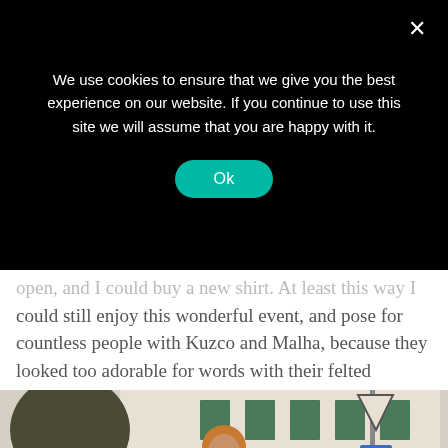We use cookies to ensure that we give you the best experience on our website. If you continue to use this site we will assume that you are happy with it.
open, and I could buy a new shirt. At least this way I could still enjoy this wonderful event, and pose for countless people with Kuzco and Malha, because they looked too adorable for words with their felted unicorns on their heads.
[Figure (photo): A woman with curly red hair smiling at the event, with a dog wearing a unicorn horn visible beside her, in a crowded street with buildings in the background.]